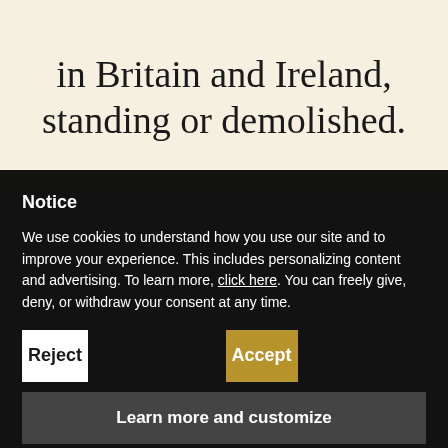every country house built in Britain and Ireland, standing or demolished.
Notice
We use cookies to understand how you use our site and to improve your experience. This includes personalizing content and advertising. To learn more, click here. You can freely give, deny, or withdraw your consent at any time.
Reject
Accept
Learn more and customize